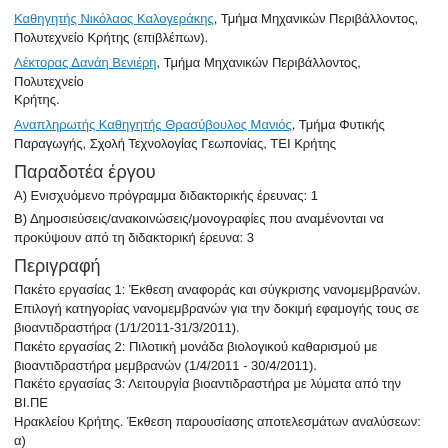Καθηγητής Νικόλαος Καλογεράκης, Τμήμα Μηχανικών Περιβάλλοντος, Πολυτεχνείο Κρήτης (επιβλέπων).
Λέκτορας Δανάη Βενιέρη, Τμήμα Μηχανικών Περιβάλλοντος, Πολυτεχνείο Κρήτης.
Αναπληρωτής Καθηγητής Θρασύβουλος Μανιός, Τμήμα Φυτικής Παραγωγής, Σχολή Τεχνολογίας Γεωπονίας, ΤΕΙ Κρήτης
Παραδοτέα έργου
Α) Ενισχυόμενο πρόγραμμα διδακτορικής έρευνας: 1
Β) Δημοσιεύσεις/ανακοινώσεις/μονογραφίες που αναμένονται να προκύψουν από τη διδακτορική έρευνα: 3
Περιγραφή
Πακέτο εργασίας 1: Έκθεση αναφοράς και σύγκρισης νανομεμβρανών. Επιλογή κατηγορίας νανομεμβρανών για την δοκιμή εφαμογής τους σε βιοαντιδραστήρα (1/1/2011-31/3/2011).
Πακέτο εργασίας 2: Πιλοτική μονάδα βιολογικού καθαρισμού με βιοαντιδραστήρα μεμβρανών (1/4/2011 - 30/4/2011).
Πακέτο εργασίας 3: Λειτουργία βιοαντιδραστήρα με λύματα από την ΒΙ.ΠΕ Ηρακλείου Κρήτης. Έκθεση παρουσίασης αποτελεσμάτων αναλύσεων: α) λειτουργικών παραμέτρων β) βιολογικών παραμέτρων γ) ελέγχου νανομεμβρανών (1/5/2011-31/1/2012).
Πακέτο εργασίας 4: Έλεγχος λυμάτων ΒΙ.ΠΕ Ηρακλείου. Έκθεση